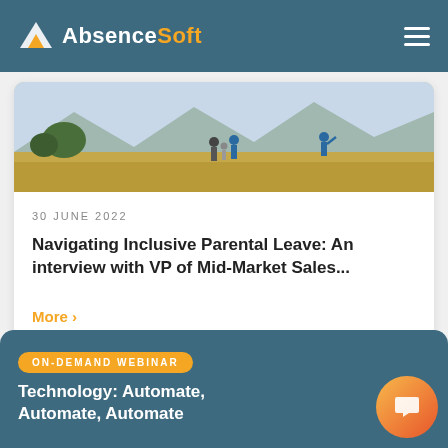AbsenceSoft
[Figure (photo): Outdoor field scene with a family silhouetted against mountains, children playing]
30 JUNE 2022
Navigating Inclusive Parental Leave: An interview with VP of Mid-Market Sales...
More ›
ON-DEMAND WEBINAR
Technology: Automate, Automate, Automate